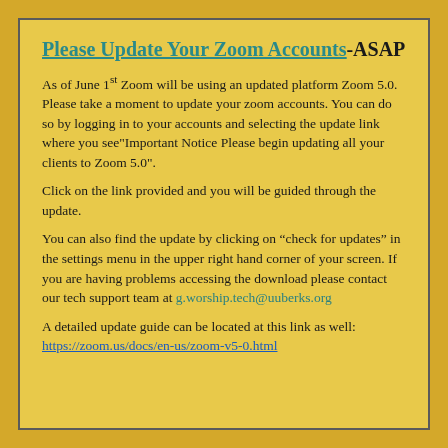Please Update Your Zoom Accounts-ASAP
As of June 1st Zoom will be using an updated platform Zoom 5.0. Please take a moment to update your zoom accounts. You can do so by logging in to your accounts and selecting the update link where you see"Important Notice Please begin updating all your clients to Zoom 5.0".
Click on the link provided and you will be guided through the update.
You can also find the update by clicking on “check for updates” in the settings menu in the upper right hand corner of your screen. If you are having problems accessing the download please contact our tech support team at g.worship.tech@uuberks.org
A detailed update guide can be located at this link as well: https://zoom.us/docs/en-us/zoom-v5-0.html